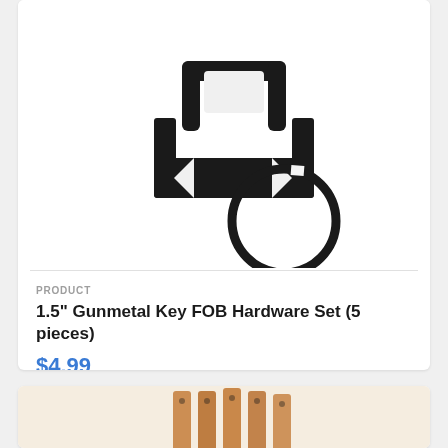[Figure (photo): A gunmetal/black key fob hardware piece (rectangular bracket with loop) and a split key ring, both in dark metal finish, on white background]
PRODUCT
1.5" Gunmetal Key FOB Hardware Set (5 pieces)
$4.99
[Figure (photo): Several tan/brown leather pieces (straps or tabs) standing vertically, partially visible at bottom of page]